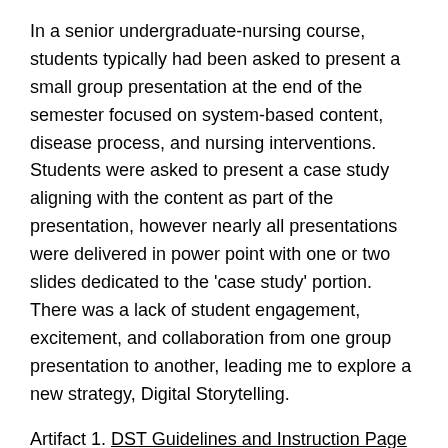In a senior undergraduate-nursing course, students typically had been asked to present a small group presentation at the end of the semester focused on system-based content, disease process, and nursing interventions. Students were asked to present a case study aligning with the content as part of the presentation, however nearly all presentations were delivered in power point with one or two slides dedicated to the 'case study' portion. There was a lack of student engagement, excitement, and collaboration from one group presentation to another, leading me to explore a new strategy, Digital Storytelling.
Artifact 1. DST Guidelines and Instruction Page
The entire group presentation assignment underwent a vital makeover. At the start of the